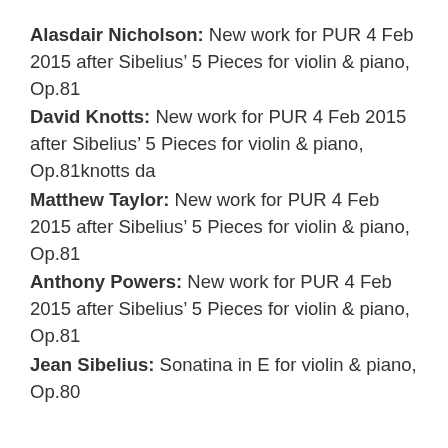Alasdair Nicholson: New work for PUR 4 Feb 2015 after Sibelius' 5 Pieces for violin & piano, Op.81
David Knotts: New work for PUR 4 Feb 2015 after Sibelius' 5 Pieces for violin & piano, Op.81knotts da
Matthew Taylor: New work for PUR 4 Feb 2015 after Sibelius' 5 Pieces for violin & piano, Op.81
Anthony Powers: New work for PUR 4 Feb 2015 after Sibelius' 5 Pieces for violin & piano, Op.81
Jean Sibelius: Sonatina in E for violin & piano, Op.80